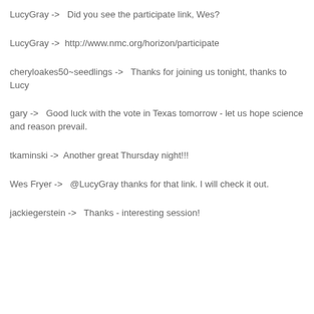LucyGray ->   Did you see the participate link, Wes?
LucyGray ->   http://www.nmc.org/horizon/participate
cheryloakes50~seedlings ->   Thanks for joining us tonight, thanks to Lucy
gary ->   Good luck with the vote in Texas tomorrow - let us hope science and reason prevail.
tkaminski ->   Another great Thursday night!!!
Wes Fryer ->   @LucyGray thanks for that link. I will check it out.
jackiegerstein ->   Thanks - interesting session!